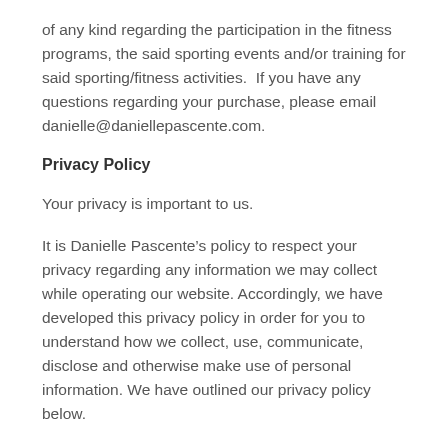of any kind regarding the participation in the fitness programs, the said sporting events and/or training for said sporting/fitness activities.  If you have any questions regarding your purchase, please email danielle@daniellepascente.com.
Privacy Policy
Your privacy is important to us.
It is Danielle Pascente’s policy to respect your privacy regarding any information we may collect while operating our website. Accordingly, we have developed this privacy policy in order for you to understand how we collect, use, communicate, disclose and otherwise make use of personal information. We have outlined our privacy policy below.